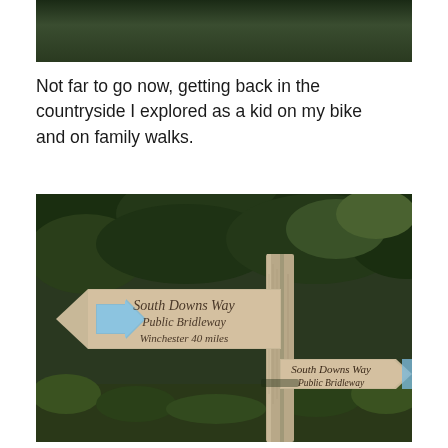[Figure (photo): Top portion of a countryside photo showing dense green tree foliage]
Not far to go now, getting back in the countryside I explored as a kid on my bike and on family walks.
[Figure (photo): Photo of a wooden South Downs Way signpost in the countryside. Left-pointing arrow sign reads 'South Downs Way Public Bridleway Winchester 40 miles'. A second sign on the right reads 'South Downs Way Public Bridleway'. Trees visible in background.]